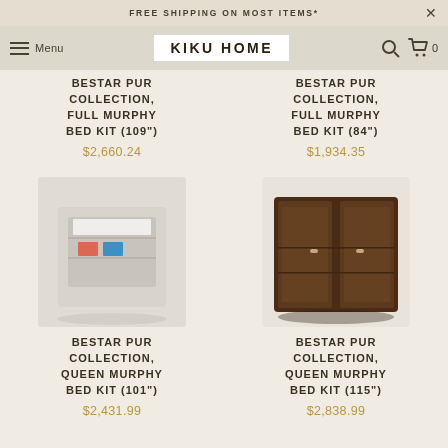FREE SHIPPING ON MOST ITEMS*
KIKU HOME — Menu, Search, Cart (0)
BESTAR PUR COLLECTION, FULL MURPHY BED KIT (109")
$2,660.24
BESTAR PUR COLLECTION, FULL MURPHY BED KIT (84")
$1,934.35
[Figure (photo): White/light colored murphy bed kit product photo]
BESTAR PUR COLLECTION, QUEEN MURPHY BED KIT (101")
$2,431.99
[Figure (photo): Dark brown murphy bed kit product photo]
BESTAR PUR COLLECTION, QUEEN MURPHY BED KIT (115")
$2,838.99